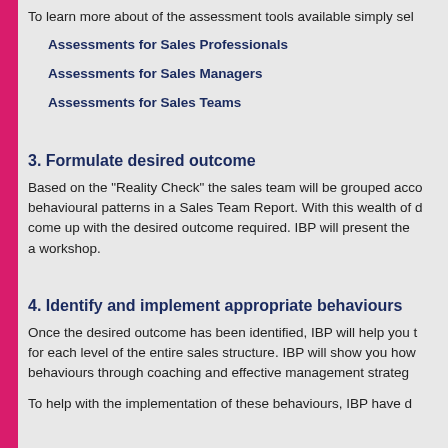To learn more about of the assessment tools available simply se...
Assessments for Sales Professionals
Assessments for Sales Managers
Assessments for Sales Teams
3. Formulate desired outcome
Based on the "Reality Check" the sales team will be grouped acco... behavioural patterns in a Sales Team Report. With this wealth of d... come up with the desired outcome required. IBP will present the... a workshop.
4. Identify and implement appropriate behaviours
Once the desired outcome has been identified, IBP will help you t... for each level of the entire sales structure. IBP will show you how behaviours through coaching and effective management strateg...
To help with the implementation of these behaviours, IBP have d...